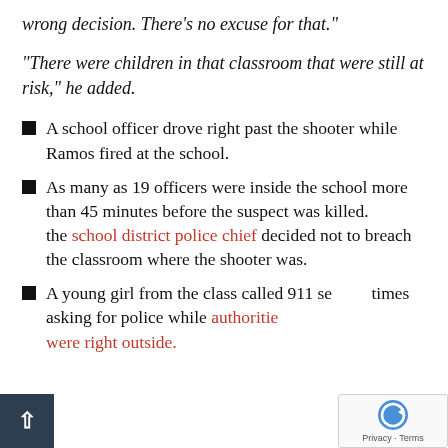wrong decision. There’s no excuse for that.”
“There were children in that classroom that were still at risk,” he added.
A school officer drove right past the shooter while Ramos fired at the school.
As many as 19 officers were inside the school more than 45 minutes before the suspect was killed. the school district police chief decided not to breach the classroom where the shooter was.
A young girl from the class called 911 several times asking for police while authorities were right outside.